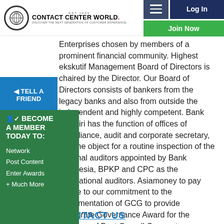Contact Center World — Log In | Join Now
Enterprises chosen by members of a prominent financial community. Highest ekskutif Management Board of Directors is chaired by the Director. Our Board of Directors consists of bankers from the legacy banks and also from outside the independent and highly competent. Bank Mandiri has the function of offices of compliance, audit and corporate secretary, and the object for a routine inspection of the external auditors appointed by Bank Indonesia, BPKP and CPC as the international auditors. Asiamoney to pay tribute to our commitment to the implementation of GCG to provide Corporate Governance Award for the category of Best Overall Corporate Governance in Indonesia and the Best disclosure and transparency.
[Figure (other): Blue 'Tell a Friend' share button on left sidebar]
[Figure (other): Green 'Become a Member Today To:' sidebar with links: Network, Post Content, Enter Awards, + Much More]
CONTACT US